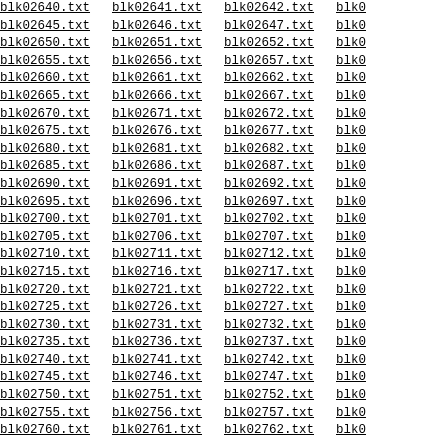blk02640.txt blk02641.txt blk02642.txt blk0...
blk02645.txt blk02646.txt blk02647.txt blk0...
blk02650.txt blk02651.txt blk02652.txt blk0...
blk02655.txt blk02656.txt blk02657.txt blk0...
blk02660.txt blk02661.txt blk02662.txt blk0...
blk02665.txt blk02666.txt blk02667.txt blk0...
blk02670.txt blk02671.txt blk02672.txt blk0...
blk02675.txt blk02676.txt blk02677.txt blk0...
blk02680.txt blk02681.txt blk02682.txt blk0...
blk02685.txt blk02686.txt blk02687.txt blk0...
blk02690.txt blk02691.txt blk02692.txt blk0...
blk02695.txt blk02696.txt blk02697.txt blk0...
blk02700.txt blk02701.txt blk02702.txt blk0...
blk02705.txt blk02706.txt blk02707.txt blk0...
blk02710.txt blk02711.txt blk02712.txt blk0...
blk02715.txt blk02716.txt blk02717.txt blk0...
blk02720.txt blk02721.txt blk02722.txt blk0...
blk02725.txt blk02726.txt blk02727.txt blk0...
blk02730.txt blk02731.txt blk02732.txt blk0...
blk02735.txt blk02736.txt blk02737.txt blk0...
blk02740.txt blk02741.txt blk02742.txt blk0...
blk02745.txt blk02746.txt blk02747.txt blk0...
blk02750.txt blk02751.txt blk02752.txt blk0...
blk02755.txt blk02756.txt blk02757.txt blk0...
blk02760.txt blk02761.txt blk02762.txt blk0...